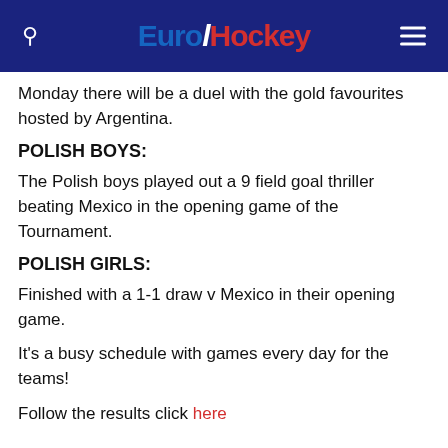EuroHockey
Monday there will be a duel with the gold favourites hosted by Argentina.
POLISH BOYS:
The Polish boys played out a 9 field goal thriller beating Mexico in the opening game of the Tournament.
POLISH GIRLS:
Finished with a 1-1 draw v Mexico in their opening game.
It's a busy schedule with games every day for the teams!
Follow the results click here